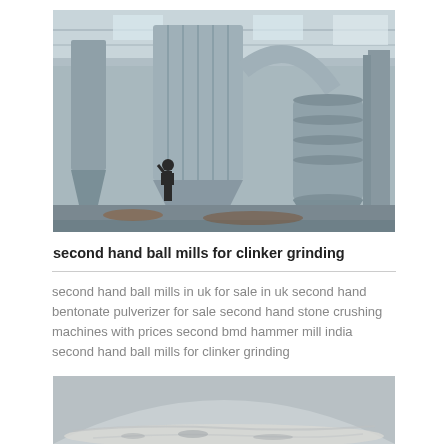[Figure (photo): Industrial grinding mill facility interior showing large dust collector cyclones, conveyor systems, and grinding machinery in a warehouse/factory setting. A worker is visible in the background.]
second hand ball mills for clinker grinding
second hand ball mills in uk for sale in uk second hand bentonate pulverizer for sale second hand stone crushing machines with prices second bmd hammer mill india second hand ball mills for clinker grinding
[Figure (photo): Close-up photo of what appears to be ground clinker or powder material inside a grinding mill, showing a metallic curved surface with fine grey powder/material.]